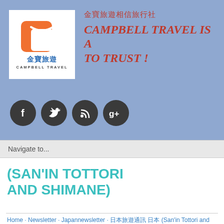[Figure (logo): Campbell Travel (金寶旅遊) logo — orange stylized C shape with smile, Chinese characters 金寶旅遊, text CAMPBELL TRAVEL]
金寶旅遊相信旅行社 CAMPBELL TRAVEL IS A TRAVEL AGENCY TO TRUST !
[Figure (infographic): Four dark circular social media icons: Facebook, Twitter, RSS feed, Google+]
Navigate to...
(SAN'IN TOTTORI AND SHIMANE)
Home · Newsletter · Japannewsletter · 日本旅遊通訊 日本 (San'in Tottori and